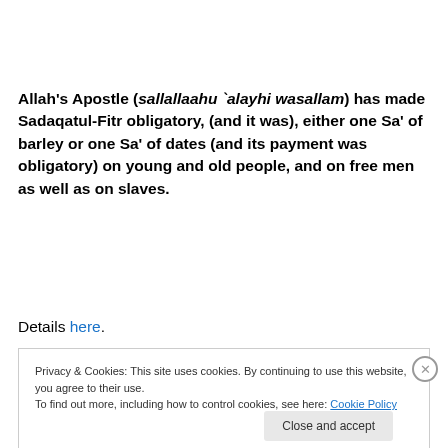Allah's Apostle (sallallaahu `alayhi wasallam) has made Sadaqatul-Fitr obligatory, (and it was), either one Sa' of barley or one Sa' of dates (and its payment was obligatory) on young and old people, and on free men as well as on slaves.
Details here.
Privacy & Cookies: This site uses cookies. By continuing to use this website, you agree to their use. To find out more, including how to control cookies, see here: Cookie Policy